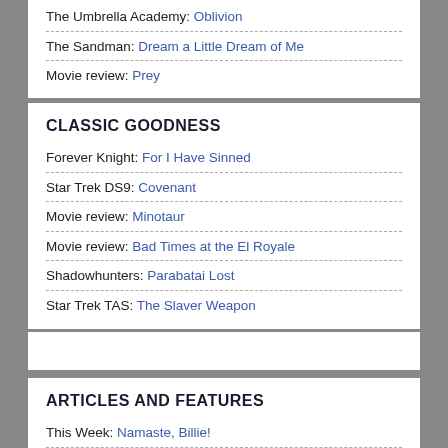The Umbrella Academy: Oblivion
The Sandman: Dream a Little Dream of Me
Movie review: Prey
CLASSIC GOODNESS
Forever Knight: For I Have Sinned
Star Trek DS9: Covenant
Movie review: Minotaur
Movie review: Bad Times at the El Royale
Shadowhunters: Parabatai Lost
Star Trek TAS: The Slaver Weapon
ARTICLES AND FEATURES
This Week: Namaste, Billie!
This Week: Includes Apocalypse Now
This Week: Really Buzzed